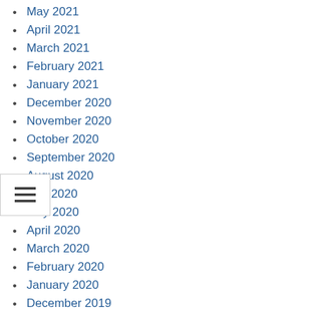May 2021
April 2021
March 2021
February 2021
January 2021
December 2020
November 2020
October 2020
September 2020
August 2020
July 2020
May 2020
April 2020
March 2020
February 2020
January 2020
December 2019
November 2019
September 2019